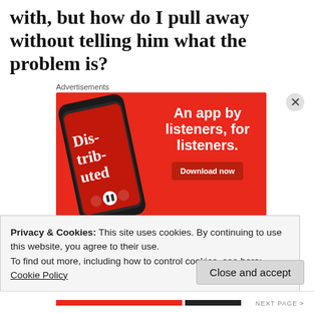with, but how do I pull away without telling him what the problem is?
Advertisements
[Figure (illustration): Advertisement banner with red background showing a smartphone displaying a podcast app called 'Dis-trib-uted'. Text reads 'An app by listeners, for listeners.' with a 'Download now' button.]
Privacy & Cookies: This site uses cookies. By continuing to use this website, you agree to their use.
To find out more, including how to control cookies, see here: Cookie Policy
Close and accept